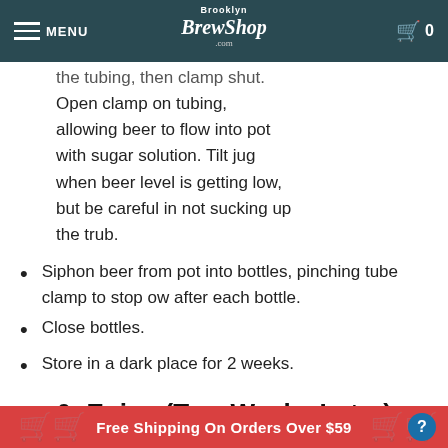MENU | Brooklyn BrewShop | 0
the tubing, then clamp shut. Open clamp on tubing, allowing beer to flow into pot with sugar solution. Tilt jug when beer level is getting low, but be careful in not sucking up the trub.
Siphon beer from pot into bottles, pinching tube clamp to stop ow after each bottle.
Close bottles.
Store in a dark place for 2 weeks.
6: Enjoy (Two Weeks Later)
Free Shipping On Orders Over $59